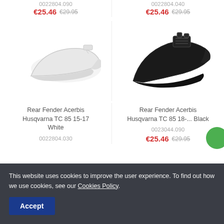0022804.090
€25.46 €29.95
0022804.040
€25.46 €29.95
[Figure (photo): White rear fender for Husqvarna motorcycle, Acerbis brand]
[Figure (photo): Black rear fender for Husqvarna motorcycle, Acerbis brand]
Rear Fender Acerbis Husqvarna TC 85 15-17 White
0022804.030
Rear Fender Acerbis Husqvarna TC 85 18-... Black
0023044.090
€25.46 €29.95
This website uses cookies to improve the user experience. To find out how we use cookies, see our Cookies Policy.
Accept